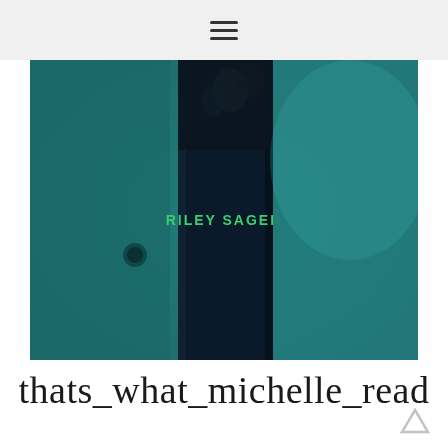≡
[Figure (photo): A dark teal-toned photograph of a book spine showing the author name 'RILEY SAGER' in green lettering, with a dark navy spine against a blurred teal background.]
thats_what_michelle_read